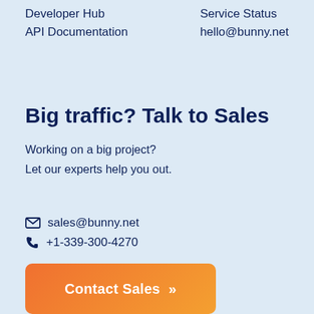Developer Hub
API Documentation
Service Status
hello@bunny.net
Big traffic? Talk to Sales
Working on a big project?
Let our experts help you out.
sales@bunny.net
+1-339-300-4270
Contact Sales »